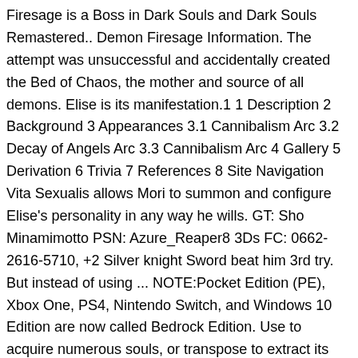Firesage is a Boss in Dark Souls and Dark Souls Remastered.. Demon Firesage Information. The attempt was unsuccessful and accidentally created the Bed of Chaos, the mother and source of all demons. Elise is its manifestation.1 1 Description 2 Background 3 Appearances 3.1 Cannibalism Arc 3.2 Decay of Angels Arc 3.3 Cannibalism Arc 4 Gallery 5 Derivation 6 Trivia 7 References 8 Site Navigation Vita Sexualis allows Mori to summon and configure Elise's personality in any way he wills. GT: Sho Minamimotto PSN: Azure_Reaper8 3Ds FC: 0662-2616-5710, +2 Silver knight Sword beat him 3rd try. But instead of using ... NOTE:Pocket Edition (PE), Xbox One, PS4, Nintendo Switch, and Windows 10 Edition are now called Bedrock Edition. Use to acquire numerous souls, or transpose to extract its true strength. All to fulfill his promise to Odasaku. A large demon found at the end of the Demon Ruins.It very closely resembles the Stray Demon and Asylum Demon, though its behavior and abilities are much more closely related to the former of the two bosses. I could strangely see that happening. Golden Demon (黄金鬼, Konjiki Yasha?) Preface. The Stray